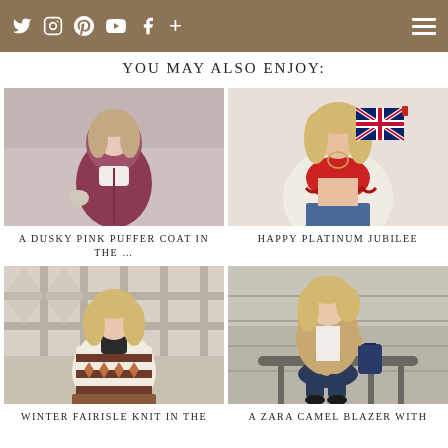Twitter Instagram Pinterest YouTube Facebook + [hamburger menu]
YOU MAY ALSO ENJOY:
[Figure (photo): Woman wearing a dusky pink puffer coat in a snowy outdoor setting]
A DUSKY PINK PUFFER COAT IN THE …
[Figure (photo): Woman holding a Union Jack flag wearing a red lace top]
HAPPY PLATINUM JUBILEE
[Figure (photo): Woman wearing a winter fairisle knit sweater outdoors]
WINTER FAIRISLE KNIT IN THE
[Figure (photo): Woman wearing a camel blazer sitting on a railing outdoors]
A ZARA CAMEL BLAZER WITH